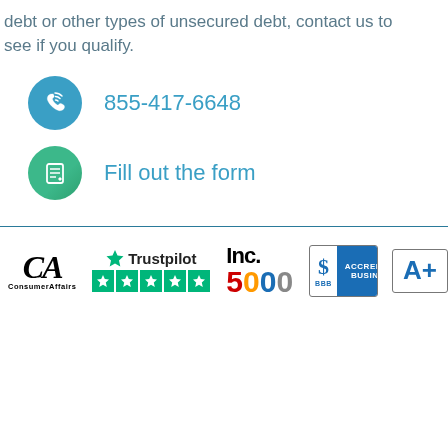debt or other types of unsecured debt, contact us to see if you qualify.
855-417-6648
Fill out the form
[Figure (logo): Consumer Affairs (CA) logo, Trustpilot 5-star logo, Inc. 5000 logo, BBB Accredited Business A+ logo]